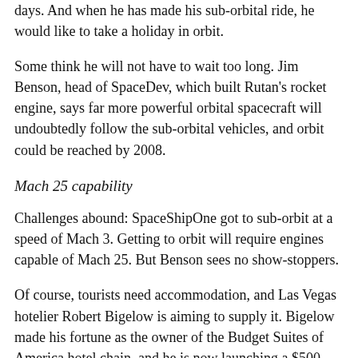days. And when he has made his sub-orbital ride, he would like to take a holiday in orbit.
Some think he will not have to wait too long. Jim Benson, head of SpaceDev, which built Rutan's rocket engine, says far more powerful orbital spacecraft will undoubtedly follow the sub-orbital vehicles, and orbit could be reached by 2008.
Mach 25 capability
Challenges abound: SpaceShipOne got to sub-orbit at a speed of Mach 3. Getting to orbit will require engines capable of Mach 25. But Benson sees no show-stoppers.
Of course, tourists need accommodation, and Las Vegas hotelier Robert Bigelow is aiming to supply it. Bigelow made his fortune as the owner of the Budget Suites of America hotel chain, and he is now launching a $500 million effort to expand his business off-planet.